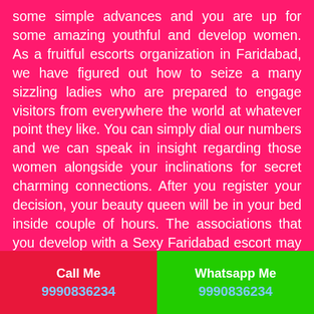some simple advances and you are up for some amazing youthful and develop women. As a fruitful escorts organization in Faridabad, we have figured out how to seize a many sizzling ladies who are prepared to engage visitors from everywhere the world at whatever point they like. You can simply dial our numbers and we can speak in insight regarding those women alongside your inclinations for secret charming connections. After you register your decision, your beauty queen will be in your bed inside couple of hours. The associations that you develop with a Sexy Faridabad escort may wind up in a decent kinship. Indeed, it relies upon how you treat those delightful, considerate, sweet yet sexual women. The fellowship will be gainful in getting you cuteiest Escorts in future immediately. Arrive at the mindset of
Call Me
9990836234
Whatsapp Me
9990836234